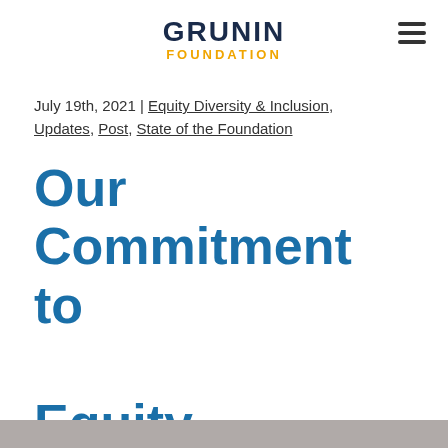GRUNIN FOUNDATION
July 19th, 2021 | Equity Diversity & Inclusion, Updates, Post, State of the Foundation
Our Commitment to Equity
by grunin
Share: